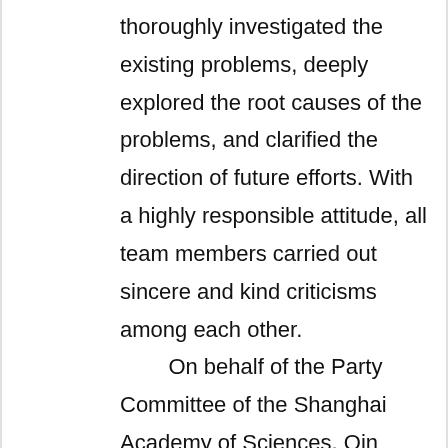thoroughly investigated the existing problems, deeply explored the root causes of the problems, and clarified the direction of future efforts. With a highly responsible attitude, all team members carried out sincere and kind criticisms among each other. On behalf of the Party Committee of the Shanghai Academy of Sciences, Qin Wenbo affirmed the democratic life meeting of the Shanghai Institute of Instrumentation. He pointed out that the party committee of Shanghai Yi Institute attached great importance to this democratic life meeting and made full preparations. Before the meeting, it deepened